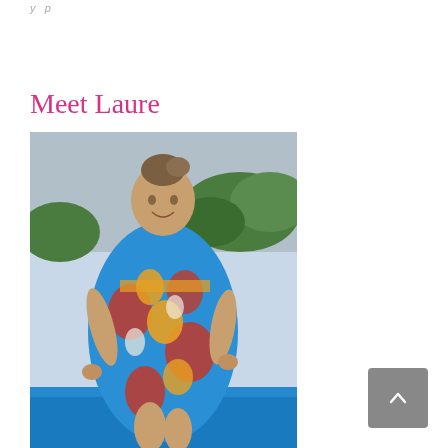y   p
Meet Laure
[Figure (photo): Woman wearing a colorful blue, red, orange, and white floral print wrap dress, standing outdoors near a blue surface with tropical vegetation in the background, hair up in a bun.]